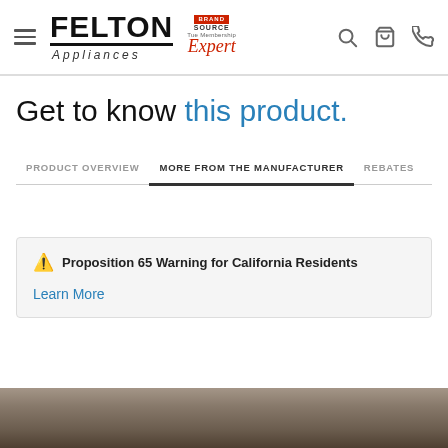Felton Appliances | Brand Source Expert
Get to know this product.
PRODUCT OVERVIEW | MORE FROM THE MANUFACTURER | REBATES
⚠ Proposition 65 Warning for California Residents
Learn More